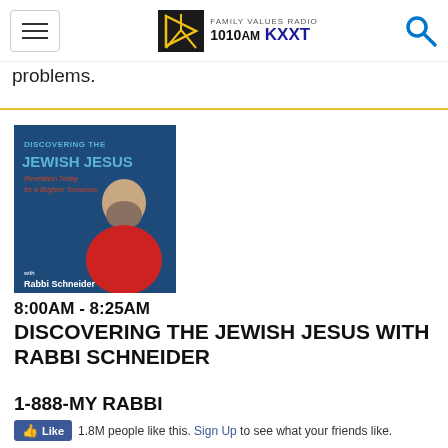Family Values Radio 1010AM KXXT
problems.
[Figure (photo): Promotional image for Discovering the Jewish Jesus with Rabbi Schneider show. Shows a man with a beard in a red shirt. Text on image reads: DISCOVERING THE JEWISH JESUS, Revelation Today for a Brighter Tomorrow, with Rabbi Schneider]
8:00AM - 8:25AM
DISCOVERING THE JEWISH JESUS WITH RABBI SCHNEIDER
1-888-MY RABBI
Like  1.8M people like this. Sign Up to see what your friends like.